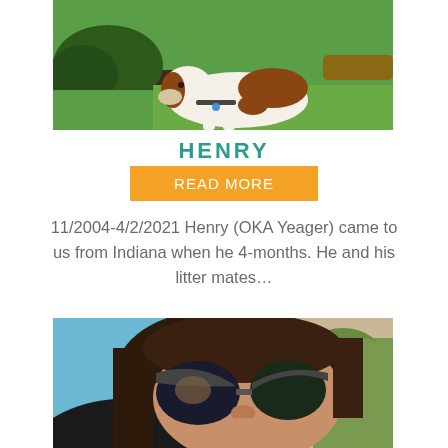[Figure (photo): A brown and white dog lying on green grass outdoors, with dark shrubs in the background]
HENRY
READ MORE
11/2004-4/2/2021 Henry (OKA Yeager) came to us from Indiana when he 4-months. He and his litter mates...
[Figure (photo): A person wearing large sunglasses taking a selfie, with a blue sky and plants visible in the background]